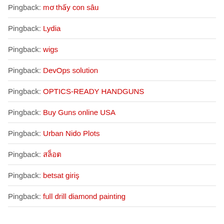Pingback: mơ thấy con sâu
Pingback: Lydia
Pingback: wigs
Pingback: DevOps solution
Pingback: OPTICS-READY HANDGUNS
Pingback: Buy Guns online USA
Pingback: Urban Nido Plots
Pingback: สล็อต
Pingback: betsat giriş
Pingback: full drill diamond painting